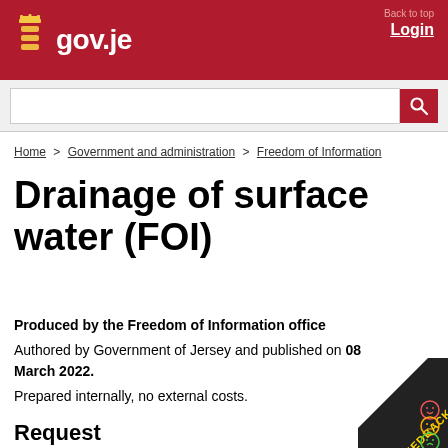gov.je — Login — Back to top
Home > Government and administration > Freedom of Information
Drainage of surface water (FOI)
Produced by the Freedom of Information office
Authored by Government of Jersey and published on 08 March 2022.
Prepared internally, no external costs.
Request